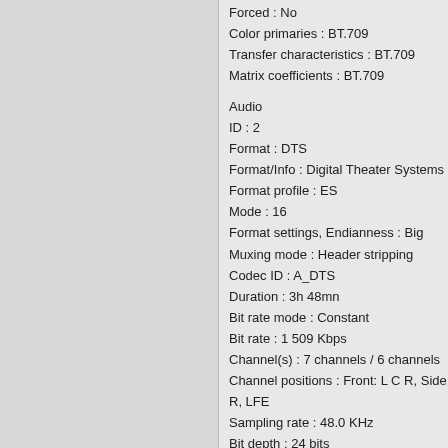Forced : No
Color primaries : BT.709
Transfer characteristics : BT.709
Matrix coefficients : BT.709
Audio
ID : 2
Format : DTS
Format/Info : Digital Theater Systems
Format profile : ES
Mode : 16
Format settings, Endianness : Big
Muxing mode : Header stripping
Codec ID : A_DTS
Duration : 3h 48mn
Bit rate mode : Constant
Bit rate : 1 509 Kbps
Channel(s) : 7 channels / 6 channels
Channel positions : Front: L C R, Side: L R R, LFE
Sampling rate : 48.0 KHz
Bit depth : 24 bits
Compression mode : Lossy
Delay relative to video : 50ms
Stream size : 2.41 GiB (9%)